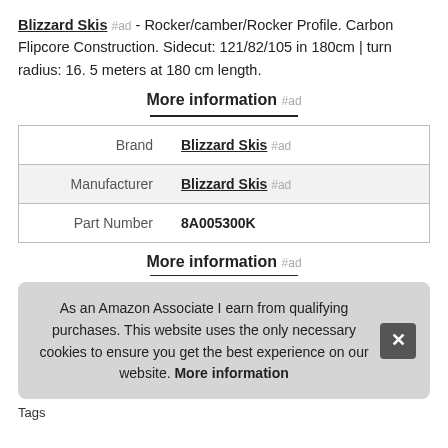Blizzard Skis #ad - Rocker/camber/Rocker Profile. Carbon Flipcore Construction. Sidecut: 121/82/105 in 180cm | turn radius: 16. 5 meters at 180 cm length.
More information #ad
|  |  |
| --- | --- |
| Brand | Blizzard Skis #ad |
| Manufacturer | Blizzard Skis #ad |
| Part Number | 8A005300K |
More information #ad
As an Amazon Associate I earn from qualifying purchases. This website uses the only necessary cookies to ensure you get the best experience on our website. More information
Tags